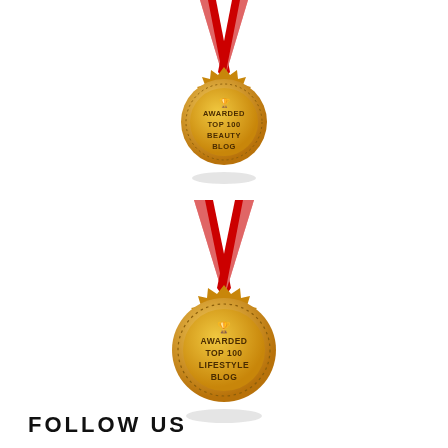[Figure (illustration): Gold medal with red and white ribbon awarded Top 100 Beauty Blog]
[Figure (illustration): Gold medal with red and white ribbon awarded Top 100 Lifestyle Blog]
FOLLOW US